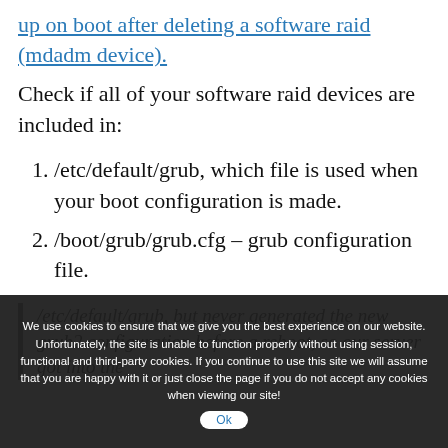up on boot after deleting a software raid (mdadm device).
Check if all of your software raid devices are included in:
1. /etc/default/grub, which file is used when your boot configuration is made.
2. /boot/grub/grub.cfg – grub configuration file.
We use cookies to ensure that we give you the best experience on our website. Unfortunately, the site is unable to function properly without using session, functional and third-party cookies. If you continue to use this site we will assume that you are happy with it or just close the page if you do not accept any cookies when viewing our site!
/etc/default/grub, but never generated the new grub2 configuration before a reboot, so our server got into the